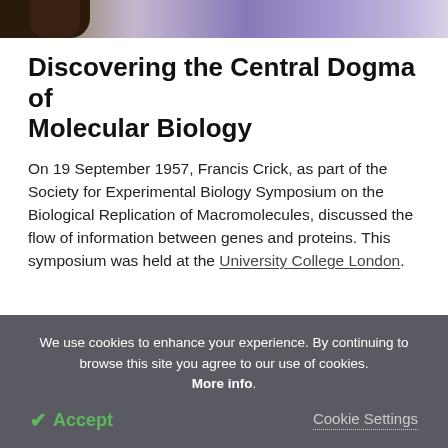[Figure (photo): Partial photo strip at top showing a hand/fingers against a purple/blue background]
Discovering the Central Dogma of Molecular Biology
On 19 September 1957, Francis Crick, as part of the Society for Experimental Biology Symposium on the Biological Replication of Macromolecules, discussed the flow of information between genes and proteins. This symposium was held at the University College London.
We use cookies to enhance your experience. By continuing to browse this site you agree to our use of cookies. More info.
✓ Accept    Cookie Settings